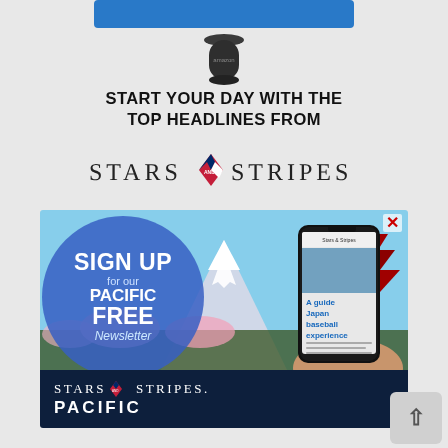[Figure (photo): Amazon Echo device shown below a blue button at the top of the page]
START YOUR DAY WITH THE TOP HEADLINES FROM
[Figure (logo): Stars and Stripes logo with American flag emblem between 'Stars' and 'Stripes' text in serif uppercase letters]
[Figure (infographic): Advertisement banner for Stars and Stripes Pacific newsletter sign-up. Shows Mount Fuji and Japanese pagoda in background, a blue circle overlay with 'SIGN UP for our PACIFIC FREE Newsletter' text, and a smartphone displaying a Japan baseball experience article. Bottom bar shows Stars and Stripes Pacific logo in white on dark navy background.]